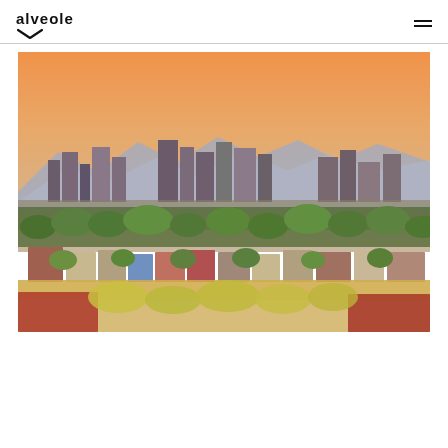alveole (logo with hamburger menu)
[Figure (photo): Aerial panoramic view of a city skyline (Phoenix, Arizona) at sunset with an orange sky, downtown skyscrapers in the background, mountains in the distance, and colorful residential neighborhoods with trees in the foreground.]